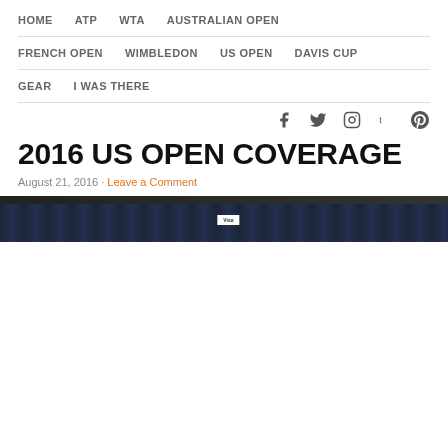HOME  ATP  WTA  AUSTRALIAN OPEN  FRENCH OPEN  WIMBLEDON  US OPEN  DAVIS CUP  GEAR  I WAS THERE
2016 US OPEN COVERAGE
August 21, 2016 · Leave a Comment
[Figure (photo): Partial view of a tennis stadium, likely US Open venue, showing seating area]